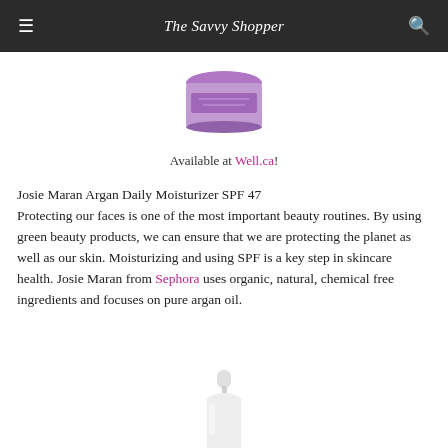The Savvy Shopper
[Figure (photo): Partial view of a purple/lavender circular cream jar product, cropped at top]
Available at Well.ca!
Josie Maran Argan Daily Moisturizer SPF 47 Protecting our faces is one of the most important beauty routines. By using green beauty products, we can ensure that we are protecting the planet as well as our skin. Moisturizing and using SPF is a key step in skincare health. Josie Maran from Sephora uses organic, natural, chemical free ingredients and focuses on pure argan oil.
[Figure (photo): Bottom portion of a white/light grey skincare product bottle or pump dispenser, cropped at bottom of page]